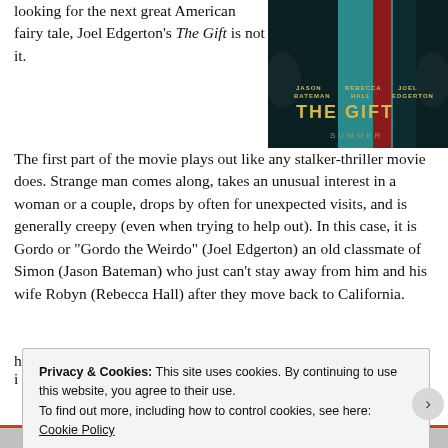looking for the next great American fairy tale, Joel Edgerton's The Gift is not it.
[Figure (photo): Movie poster for 'The Gift' featuring Jason Bateman, Rebecca Hall, and Joel Edgerton. Dark background with teal and red vertical stripes. Text reads: JASON BATEMAN REBECCA HALL JOEL EDGERTON THE GIFT SUMMER]
The first part of the movie plays out like any stalker-thriller movie does. Strange man comes along, takes an unusual interest in a woman or a couple, drops by often for unexpected visits, and is generally creepy (even when trying to help out). In this case, it is Gordo or "Gordo the Weirdo" (Joel Edgerton) an old classmate of Simon (Jason Bateman) who just can't stay away from him and his wife Robyn (Rebecca Hall) after they move back to California.
Privacy & Cookies: This site uses cookies. By continuing to use this website, you agree to their use.
To find out more, including how to control cookies, see here: Cookie Policy
Close and accept